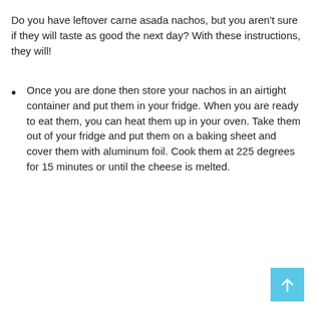Do you have leftover carne asada nachos, but you aren't sure if they will taste as good the next day? With these instructions, they will!
Once you are done then store your nachos in an airtight container and put them in your fridge. When you are ready to eat them, you can heat them up in your oven. Take them out of your fridge and put them on a baking sheet and cover them with aluminum foil. Cook them at 225 degrees for 15 minutes or until the cheese is melted.